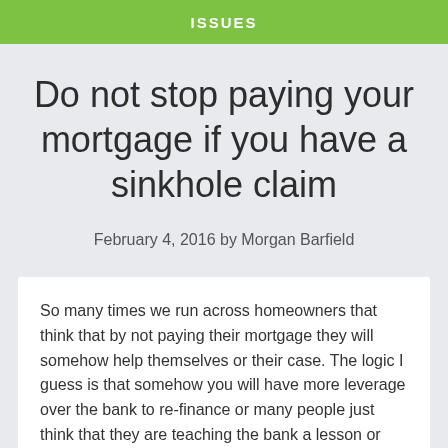ISSUES
Do not stop paying your mortgage if you have a sinkhole claim
February 4, 2016 by Morgan Barfield
So many times we run across homeowners that think that by not paying their mortgage they will somehow help themselves or their case. The logic I guess is that somehow you will have more leverage over the bank to re-finance or many people just think that they are teaching the bank a lesson or showing the insurance company how